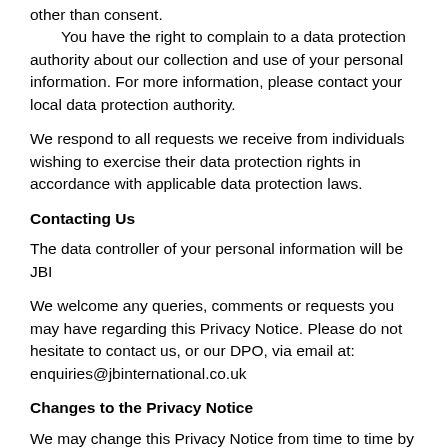other than consent.
    You have the right to complain to a data protection authority about our collection and use of your personal information. For more information, please contact your local data protection authority.
We respond to all requests we receive from individuals wishing to exercise their data protection rights in accordance with applicable data protection laws.
Contacting Us
The data controller of your personal information will be JBI
We welcome any queries, comments or requests you may have regarding this Privacy Notice. Please do not hesitate to contact us, or our DPO, via email at: enquiries@jbinternational.co.uk
Changes to the Privacy Notice
We may change this Privacy Notice from time to time by updating this document.